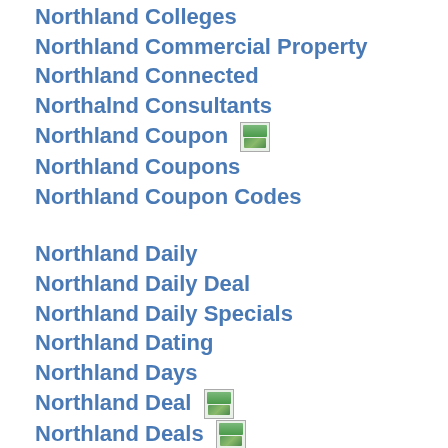Northland Colleges
Northland Commercial Property
Northland Connected
Northalnd Consultants
Northland Coupon [icon]
Northland Coupons
Northland Coupon Codes
Northland Daily
Northland Daily Deal
Northland Daily Specials
Northland Dating
Northland Days
Northland Deal [icon]
Northland Deals [icon]
Northland Dining
Northland Directory
Northland Discount